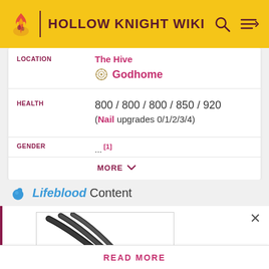HOLLOW KNIGHT WIKI
| Field | Value |
| --- | --- |
| LOCATION | The Hive
Godhome |
| HEALTH | 800 / 800 / 800 / 850 / 920 (Nail upgrades 0/1/2/3/4) |
| GENDER | [1] |
MORE ∨
Lifeblood Content
[Figure (illustration): Claw slash attack animation — three diagonal black motion-blur streaks on white background]
READ MORE